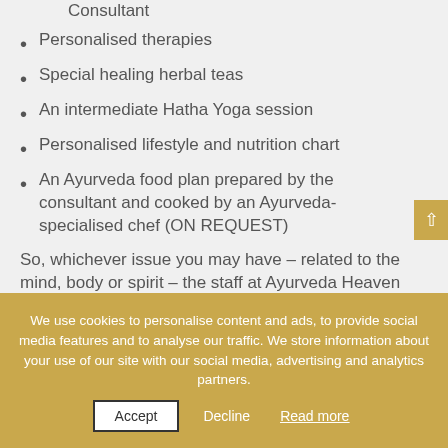Consultant
Personalised therapies
Special healing herbal teas
An intermediate Hatha Yoga session
Personalised lifestyle and nutrition chart
An Ayurveda food plan prepared by the consultant and cooked by an Ayurveda-specialised chef (ON REQUEST)
So, whichever issue you may have – related to the mind, body or spirit – the staff at Ayurveda Heaven at this wellness
We use cookies to personalise content and ads, to provide social media features and to analyse our traffic. We store information about your use of our site with our social media, advertising and analytics partners.